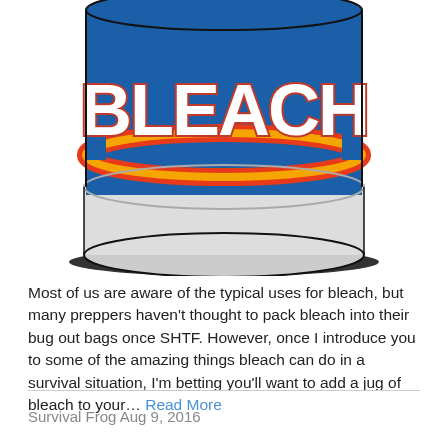[Figure (illustration): Bottom portion of a bleach container with blue labeling showing 'BLEACH' text in bold white letters with red and yellow highlight, and a white/gray bottom rim.]
Most of us are aware of the typical uses for bleach, but many preppers haven't thought to pack bleach into their bug out bags once SHTF. However, once I introduce you to some of the amazing things bleach can do in a survival situation, I'm betting you'll want to add a jug of bleach to your… Read More
Survival Frog Aug 9, 2016